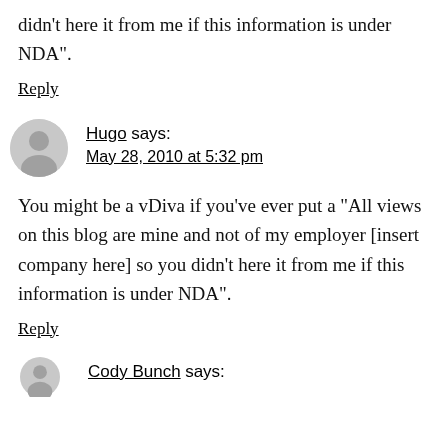didn't here it from me if this information is under NDA".
Reply
Hugo says:
May 28, 2010 at 5:32 pm
You might be a vDiva if you've ever put a “All views on this blog are mine and not of my employer [insert company here] so you didn’t here it from me if this information is under NDA".
Reply
Cody Bunch says: